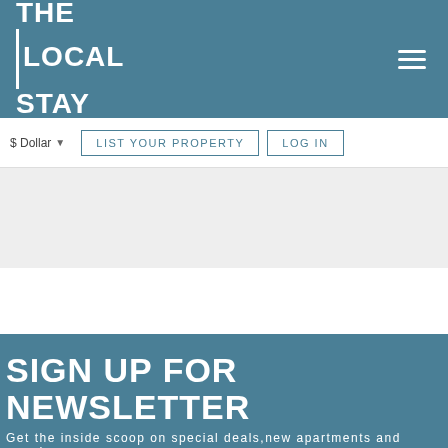THE LOCAL STAY
$ Dollar
LIST YOUR PROPERTY
LOG IN
SIGN UP FOR NEWSLETTER
Get the inside scoop on special deals,new apartments and more!
BOOK